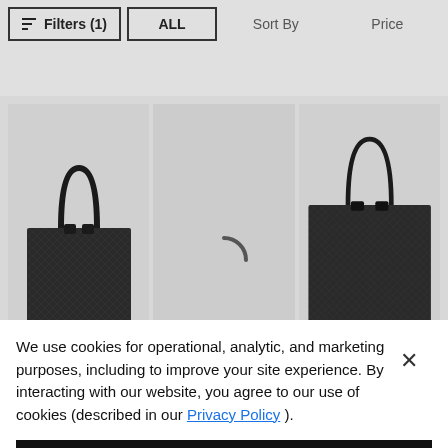[Figure (screenshot): E-commerce website filter bar with 'Filters (1)', 'ALL', 'Sort By', and 'Price' buttons]
[Figure (photo): Two dark monogram tote bags displayed in e-commerce product grid with loading spinner in center]
We use cookies for operational, analytic, and marketing purposes, including to improve your site experience. By interacting with our website, you agree to our use of cookies (described in our Privacy Policy ).
Got It!